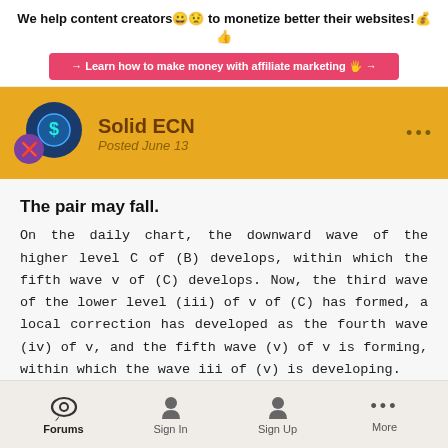We help content creators 🙂🧠 to monetize better their websites! 💰👍
→ Learn how to make money with affiliate marketing 🖐 →
Solid ECN
Posted June 13
The pair may fall.
On the daily chart, the downward wave of the higher level C of (B) develops, within which the fifth wave v of (C) develops. Now, the third wave of the lower level (iii) of v of (C) has formed, a local correction has developed as the fourth wave (iv) of v, and the fifth wave (v) of v is forming, within which the wave iii of (v) is developing.
Forums   Sign In   Sign Up   More